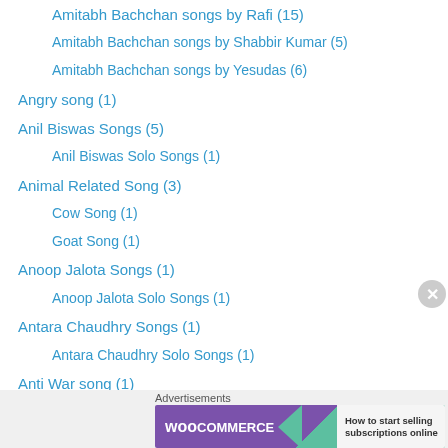Amitabh Bachchan songs by Rafi (15)
Amitabh Bachchan songs by Shabbir Kumar (5)
Amitabh Bachchan songs by Yesudas (6)
Angry song (1)
Anil Biswas Songs (5)
Anil Biswas Solo Songs (1)
Animal Related Song (3)
Cow Song (1)
Goat Song (1)
Anoop Jalota Songs (1)
Anoop Jalota Solo Songs (1)
Antara Chaudhry Songs (1)
Antara Chaudhry Solo Songs (1)
Anti War song (1)
Anuradha Paudwal songs (17)
Anuradha Paudwal solo songs (1)
Anwar Songs (6)
[Figure (other): WooCommerce advertisement banner saying 'How to start selling subscriptions online']